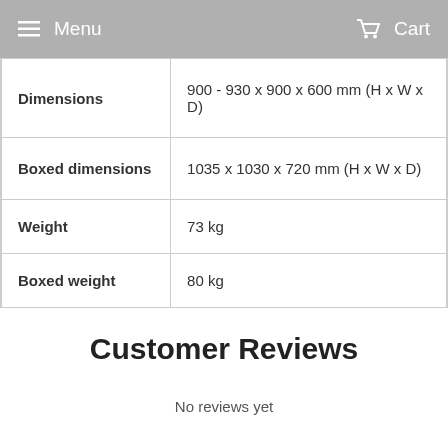Menu  Cart
| Dimensions | 900 - 930 x 900 x 600 mm (H x W x D) |
| Boxed dimensions | 1035 x 1030 x 720 mm (H x W x D) |
| Weight | 73 kg |
| Boxed weight | 80 kg |
Customer Reviews
No reviews yet